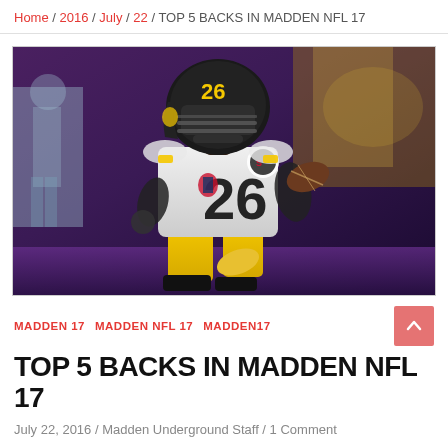Home / 2016 / July / 22 / TOP 5 BACKS IN MADDEN NFL 17
[Figure (photo): Madden NFL 17 video game render of Pittsburgh Steelers running back wearing jersey number 26, running with football in white and black uniform with gold accents, dark background with crowd]
MADDEN 17  MADDEN NFL 17  MADDEN17
TOP 5 BACKS IN MADDEN NFL 17
July 22, 2016 / Madden Underground Staff / 1 Comment